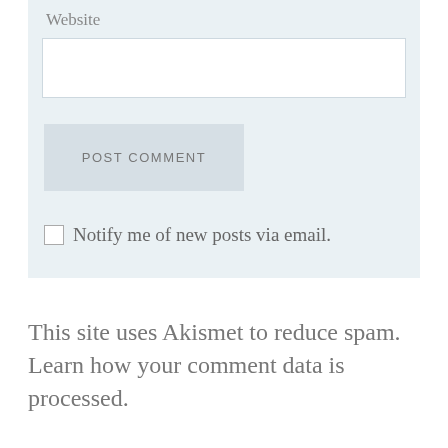Website
POST COMMENT
Notify me of new posts via email.
This site uses Akismet to reduce spam. Learn how your comment data is processed.